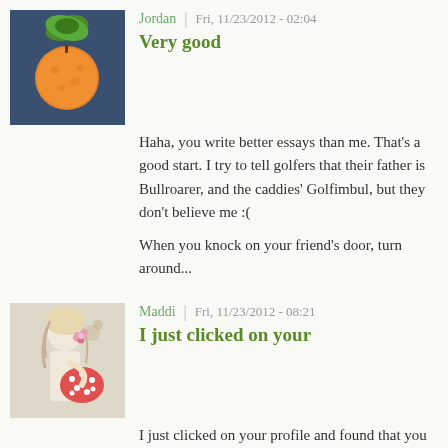[Figure (photo): Avatar image of user Jordan, showing an orange/tangerine against a dark blue-green background]
Jordan | Fri, 11/23/2012 - 02:04
Very good
Haha, you write better essays than me. That's a good start. I try to tell golfers that their father is Bullroarer, and the caddies' Golfimbul, but they don't believe me :(
When you knock on your friend's door, turn around...
[Figure (photo): Avatar image of user Maddi, showing an illustrated figure of a woman holding a polka-dot item]
Maddi | Fri, 11/23/2012 - 08:21
I just clicked on your
I just clicked on your profile and found that you had posted a lot more stuff since I'd checked. :)
I'm sorry, I have no idea about golf. But how did you write this fairly good essay in 10 mins with all the quotes and names and stuff like that? That's what I want to know. I don't have any criticisms. :) You're really good at writing in only a given time frame. And